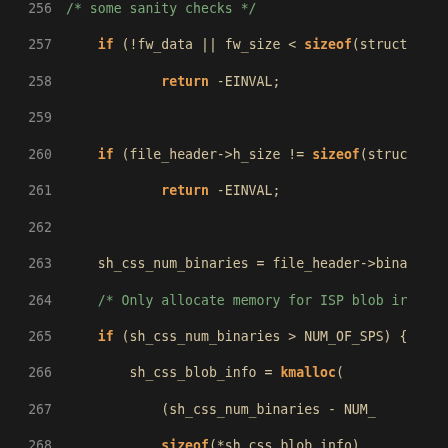[Figure (screenshot): Source code screenshot showing C code lines 257-286 on a dark background. Line numbers in grey on left, keywords in orange/bold, comments in green, numeric literals in green, other code in tan/cream color.]